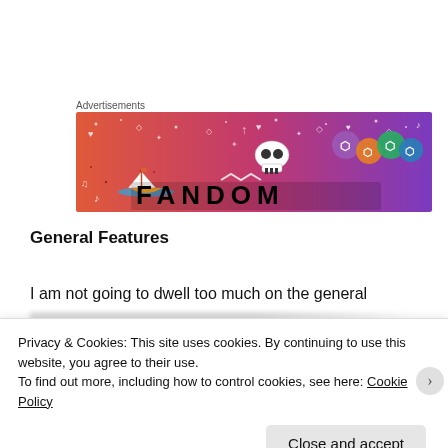Advertisements
[Figure (illustration): Fandom advertisement banner with colorful gradient background (pink/purple), featuring a sailboat, skull, dice, and the word FANDOM in large black letters]
General Features
I am not going to dwell too much on the general
Privacy & Cookies: This site uses cookies. By continuing to use this website, you agree to their use.
To find out more, including how to control cookies, see here: Cookie Policy
Close and accept